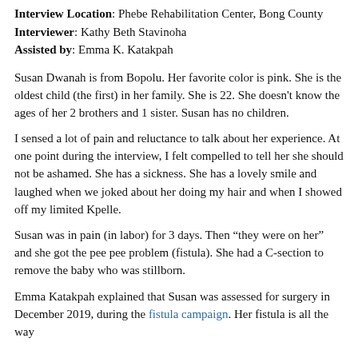Interview Location: Phebe Rehabilitation Center, Bong County
Interviewer: Kathy Beth Stavinoha
Assisted by: Emma K. Katakpah
Susan Dwanah is from Bopolu. Her favorite color is pink. She is the oldest child (the first) in her family. She is 22. She doesn't know the ages of her 2 brothers and 1 sister. Susan has no children.
I sensed a lot of pain and reluctance to talk about her experience. At one point during the interview, I felt compelled to tell her she should not be ashamed. She has a sickness. She has a lovely smile and laughed when we joked about her doing my hair and when I showed off my limited Kpelle.
Susan was in pain (in labor) for 3 days. Then “they were on her” and she got the pee pee problem (fistula). She had a C-section to remove the baby who was stillborn.
Emma Katakpah explained that Susan was assessed for surgery in December 2019, during the fistula campaign. Her fistula is all the way